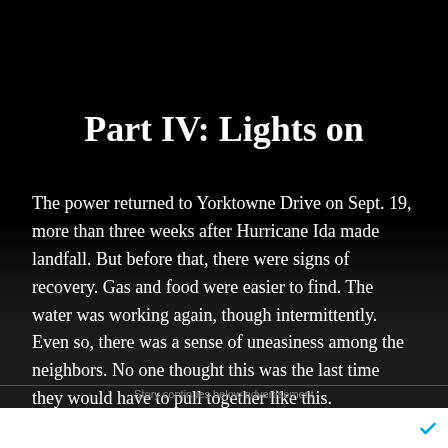Part IV: Lights on
The power returned to Yorktowne Drive on Sept. 19, more than three weeks after Hurricane Ida made landfall. But before that, there were signs of recovery. Gas and food were easier to find. The water was working again, though intermittently. Even so, there was a sense of uneasiness among the neighbors. No one thought this was the last time they would have to pull together like this.
Story continues below advertisement